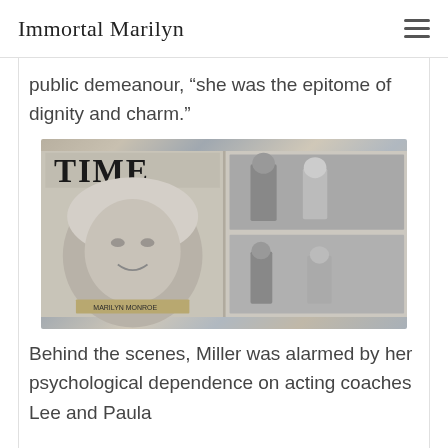Immortal Marilyn
public demeanour, “she was the epitome of dignity and charm.”
[Figure (photo): A photograph of an open book showing a TIME magazine cover featuring Marilyn Monroe on the left page, and two black-and-white photographs on the right page: one of Monroe with a man at a formal event, and one of Monroe sitting with another person.]
Behind the scenes, Miller was alarmed by her psychological dependence on acting coaches Lee and Paula